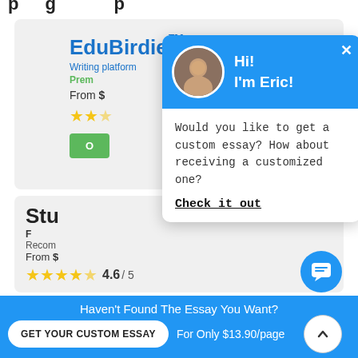EduBirdie™
Writing platform
From $
[Figure (screenshot): Chat popup with photo of Eric, blue header saying Hi! I'm Eric!, message asking about custom essay, and Check it out link]
Stu
Recommended
From $
4.6 / 5
Haven't Found The Essay You Want?
GET YOUR CUSTOM ESSAY
For Only $13.90/page